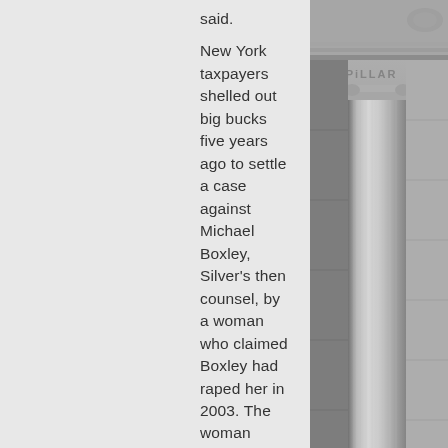said.
New York taxpayers shelled out big bucks five years ago to settle a case against Michael Boxley, Silver's then counsel, by a woman who claimed Boxley had raped her in 2003. The woman charged that Boxley was a "known predator" within Silver's office. She sued Silver for negligence and accepted a $507,500 settlement and a promise of reforms to remove any peril from the workplace. However, taxpayers ultimately paid about $500,000 of that bill. Boxley pleaded guilty to misdemeanor sexual misconduct.
Joseph Santora, a retired litigator, later sued to have Boxley and Silver foot the bill. But State Supreme Court justice Emily Jane Goodman ruled that because
[Figure (photo): Black and white photograph of classical architecture with pillars/columns, partial text 'PILLAR' visible on the stone facade]